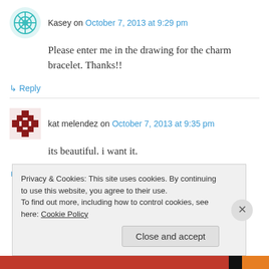Kasey on October 7, 2013 at 9:29 pm
Please enter me in the drawing for the charm bracelet. Thanks!!
↳ Reply
kat melendez on October 7, 2013 at 9:35 pm
its beautiful. i want it.
↳ Reply
Privacy & Cookies: This site uses cookies. By continuing to use this website, you agree to their use. To find out more, including how to control cookies, see here: Cookie Policy